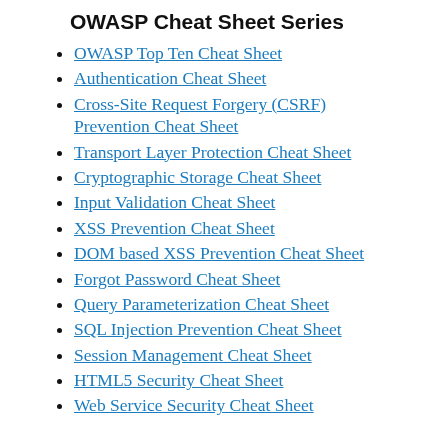OWASP Cheat Sheet Series
OWASP Top Ten Cheat Sheet
Authentication Cheat Sheet
Cross-Site Request Forgery (CSRF) Prevention Cheat Sheet
Transport Layer Protection Cheat Sheet
Cryptographic Storage Cheat Sheet
Input Validation Cheat Sheet
XSS Prevention Cheat Sheet
DOM based XSS Prevention Cheat Sheet
Forgot Password Cheat Sheet
Query Parameterization Cheat Sheet
SQL Injection Prevention Cheat Sheet
Session Management Cheat Sheet
HTML5 Security Cheat Sheet
Web Service Security Cheat Sheet